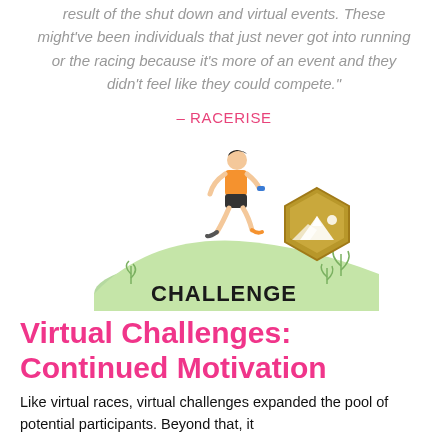result of the shut down and virtual events. These might've been individuals that just never got into running or the racing because it's more of an event and they didn't feel like they could compete."
– RACERISE
[Figure (illustration): Illustration of a person running uphill with a gold hexagonal badge showing mountains and the word CHALLENGE on a green hill background.]
Virtual Challenges: Continued Motivation
Like virtual races, virtual challenges expanded the pool of potential participants. Beyond that, it